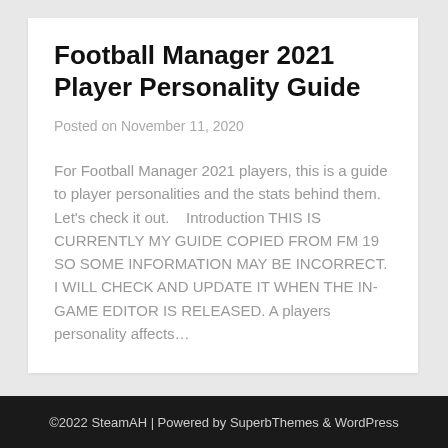Football Manager 2021 Player Personality Guide
Posted on November 11, 2020
For Football Manager 2021 players, this is a guide to player personalities and the stats behind them. Let's check it out.    Introduction THIS IS CURRENTLY MY GUIDE COPIED FROM FM 19 SO SOME INFORMATION MAY BE INCORRECT. I WILL CHECK AND UPDATE IT WHEN THE IN-GAME EDITOR IS RELEASED. A players personality affects…
©2022 SteamAH | Powered by SuperbThemes & WordPress